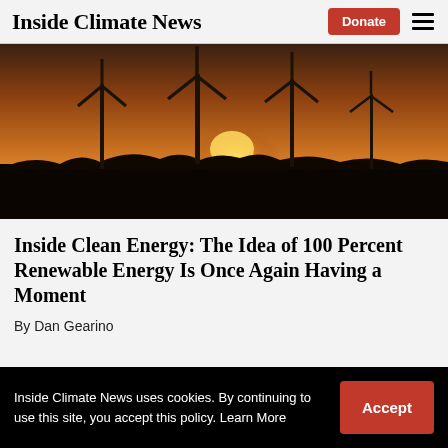Inside Climate News
[Figure (photo): Wind turbines silhouetted against an orange sunset sky, dark foreground landscape]
Inside Clean Energy: The Idea of 100 Percent Renewable Energy Is Once Again Having a Moment
By Dan Gearino
Inside Climate News uses cookies. By continuing to use this site, you accept this policy. Learn More